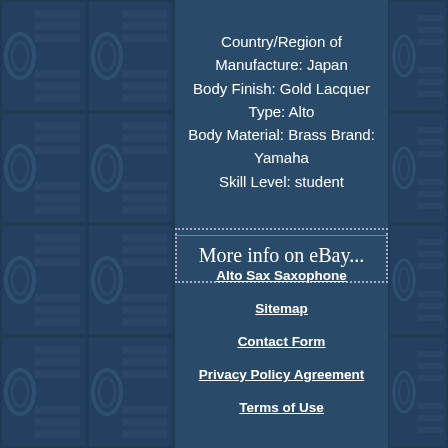Country/Region of Manufacture: Japan Body Finish: Gold Lacquer Type: Alto Body Material: Brass Brand: Yamaha Skill Level: student
More info on eBay...
Alto Sax Saxophone
Sitemap
Contact Form
Privacy Policy Agreement
Terms of Use